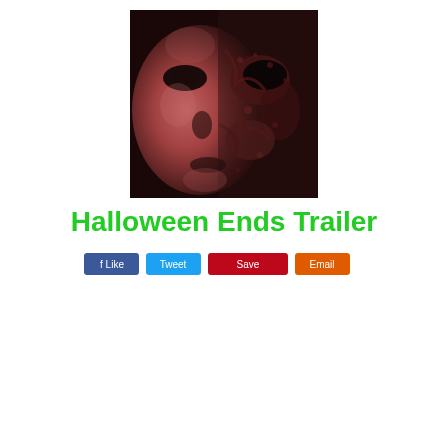[Figure (photo): Close-up photo of a face with a Halloween mask, red-tinted monochrome image showing half a normal face and half a distressed/damaged mask face]
Halloween Ends Trailer